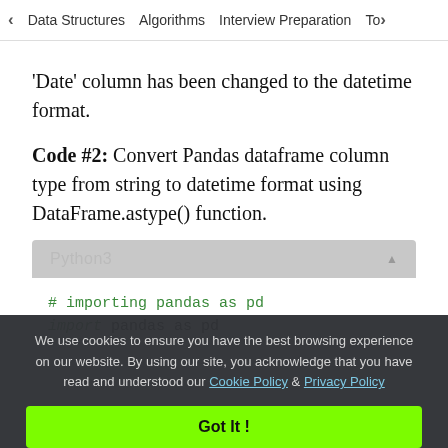< Data Structures   Algorithms   Interview Preparation   To>
'Date' column has been changed to the datetime format.
Code #2: Convert Pandas dataframe column type from string to datetime format using DataFrame.astype() function.
[Figure (screenshot): Python3 code block with header showing 'Python3' and a triangle/collapse icon, containing code lines: '# importing pandas as pd' and 'import pandas as pd']
We use cookies to ensure you have the best browsing experience on our website. By using our site, you acknowledge that you have read and understood our Cookie Policy & Privacy Policy
Got It !